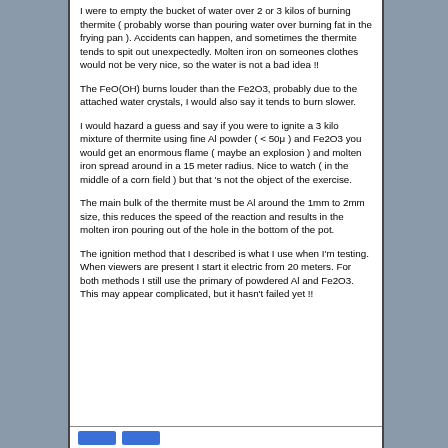I were to empty the bucket of water over 2 or 3 kilos of burning thermite ( probably worse than pouring water over burning fat in the frying pan ). Accidents can happen, and sometimes the thermite tends to spit out unexpectedly. Molten iron on someones clothes would not be very nice, so the water is not a bad idea !!
The FeO(OH) burns louder than the Fe2O3, probably due to the attached water crystals, I would also say it tends to burn slower.
I would hazard a guess and say if you were to ignite a 3 kilo mixture of thermite using fine Al powder ( < 50μ ) and Fe2O3 you would get an enormous flame ( maybe an explosion ) and molten iron spread around in a 15 meter radius. Nice to watch ( in the middle of a corn field ) but that 's not the object of the exercise.
The main bulk of the thermite must be Al around the 1mm to 2mm size, this reduces the speed of the reaction and results in the molten iron pouring out of the hole in the bottom of the pot.
The ignition method that I described is what I use when I'm testing. When viewers are present I start it electric from 20 meters. For both methods I still use the primary of powdered Al and Fe2O3. This may appear complicated, but it hasn't failed yet !!